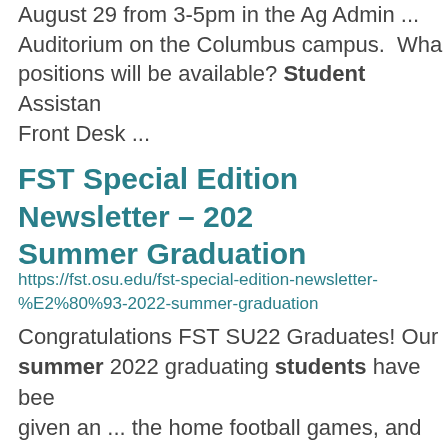August 29 from 3-5pm in the Ag Admin ... Auditorium on the Columbus campus.  What positions will be available? Student Assistant Front Desk ...
FST Special Edition Newsletter – 2022 Summer Graduation
https://fst.osu.edu/fst-special-edition-newsletter-%E2%80%93-2022-summer-graduation
Congratulations FST SU22 Graduates! Our summer 2022 graduating students have been given an ... the home football games, and going hiking with fellow FST graduate students. I want to thank my lab ... befriended them, and helped make the journey one to ...